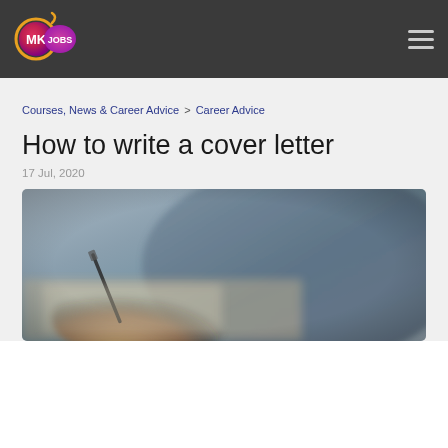MK JOBS
Courses, News & Career Advice > Career Advice
How to write a cover letter
17 Jul, 2020
[Figure (photo): Blurred close-up photo of a person writing with a pen on paper, wearing a grey/blue shirt]